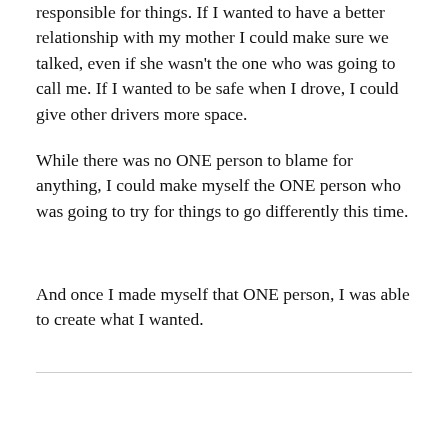responsible for things. If I wanted to have a better relationship with my mother I could make sure we talked, even if she wasn't the one who was going to call me. If I wanted to be safe when I drove, I could give other drivers more space.
While there was no ONE person to blame for anything, I could make myself the ONE person who was going to try for things to go differently this time.
And once I made myself that ONE person, I was able to create what I wanted.